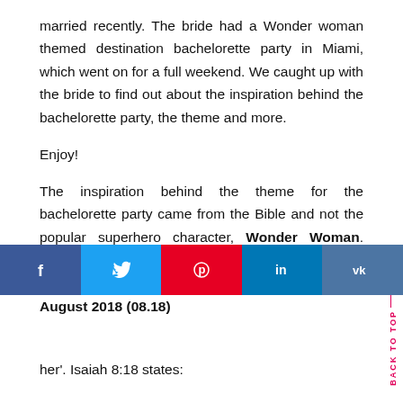married recently. The bride had a Wonder woman themed destination bachelorette party in Miami, which went on for a full weekend. We caught up with the bride to find out about the inspiration behind the bachelorette party, the theme and more.
Enjoy!
The inspiration behind the theme for the bachelorette party came from the Bible and not the popular superhero character, Wonder Woman. Isaiah 8:18 talks about signs and wonders; #Akinwonder's English ceremony took place in August 2018 (08.18).
her'. Isaiah 8:18 states: